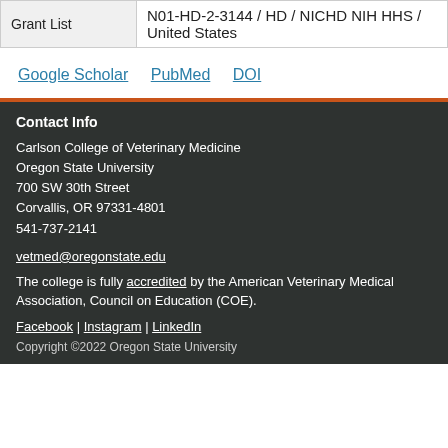|  |  |
| --- | --- |
| Grant List | N01-HD-2-3144 / HD / NICHD NIH HHS / United States |
Google Scholar   PubMed   DOI
Contact Info
Carlson College of Veterinary Medicine
Oregon State University
700 SW 30th Street
Corvallis, OR 97331-4801
541-737-2141
vetmed@oregonstate.edu
The college is fully accredited by the American Veterinary Medical Association, Council on Education (COE).
Facebook | Instagram | LinkedIn
Copyright ©2022 Oregon State University